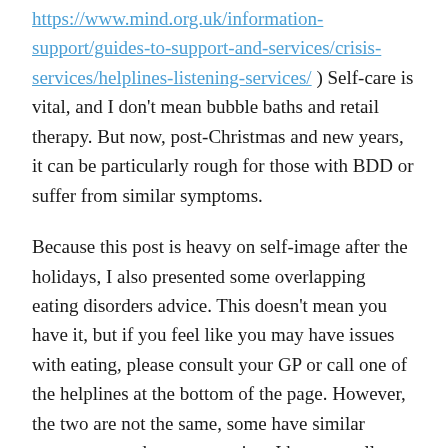https://www.mind.org.uk/information-support/guides-to-support-and-services/crisis-services/helplines-listening-services/ ) Self-care is vital, and I don't mean bubble baths and retail therapy. But now, post-Christmas and new years, it can be particularly rough for those with BDD or suffer from similar symptoms.
Because this post is heavy on self-image after the holidays, I also presented some overlapping eating disorders advice. This doesn't mean you have it, but if you feel like you may have issues with eating, please consult your GP or call one of the helplines at the bottom of the page. However, the two are not the same, some have similar symptoms, and as a precaution, I have put all stops here and hope some would suit you. Either way, here is a starter's list on